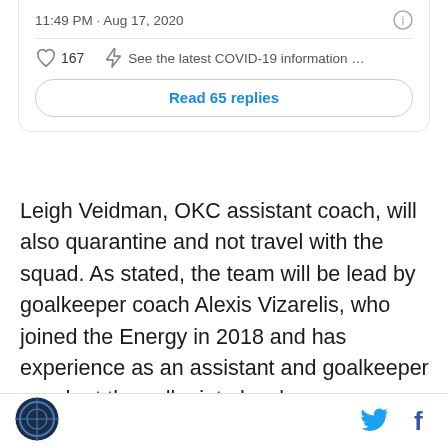[Figure (screenshot): Tweet card showing timestamp '11:49 PM · Aug 17, 2020', an info icon, a heart icon with '167' likes, a COVID-19 lightning bolt prompt 'See the latest COVID-19 information ...', and a 'Read 65 replies' button.]
Leigh Veidman, OKC assistant coach, will also quarantine and not travel with the squad. As stated, the team will be lead by goalkeeper coach Alexis Vizarelis, who joined the Energy in 2018 and has experience as an assistant and goalkeeper coach at the collegiate level.
[Figure (other): Advertisement block with 'AD' label in gray background]
Footer bar with site logo on left and Twitter and Facebook share icons on right